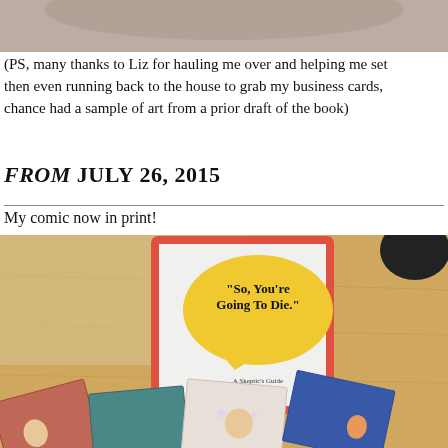[Figure (photo): Top portion of a photo, showing a blurred background scene]
(PS, many thanks to Liz for hauling me over and helping me set up, then even running back to the house to grab my business cards, which by chance had a sample of art from a prior draft of the book)
FROM JULY 26, 2015
My comic now in print!
[Figure (photo): Photo of printed comic books on a wooden table. The cover reads "So, You're Going To Die." A Skeptic's Guide To Mortality. Multiple interior pages are fanned out showing illustrated comic panels with characters.]